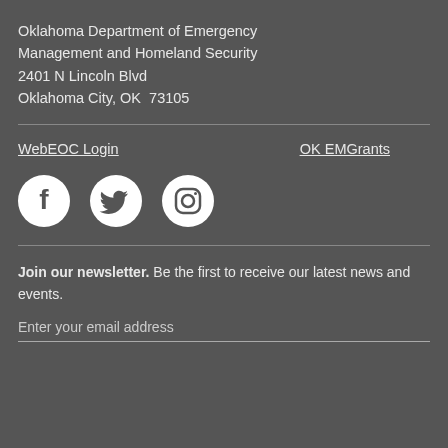Oklahoma Department of Emergency Management and Homeland Security
2401 N Lincoln Blvd
Oklahoma City, OK  73105
WebEOC Login    OK EMGrants
[Figure (infographic): Three social media icons in circles: Facebook, Twitter, Instagram]
Join our newsletter. Be the first to receive our latest news and events.
Enter your email address